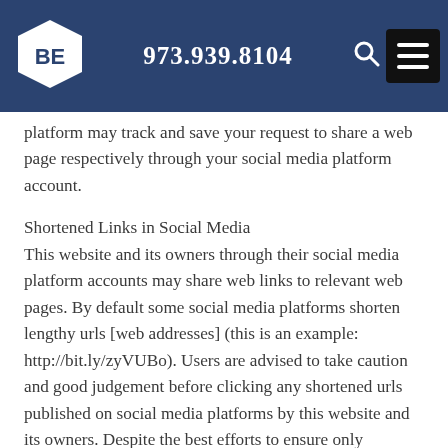BE  973.939.8104
platform may track and save your request to share a web page respectively through your social media platform account.
Shortened Links in Social Media
This website and its owners through their social media platform accounts may share web links to relevant web pages. By default some social media platforms shorten lengthy urls [web addresses] (this is an example: http://bit.ly/zyVUBo). Users are advised to take caution and good judgement before clicking any shortened urls published on social media platforms by this website and its owners. Despite the best efforts to ensure only